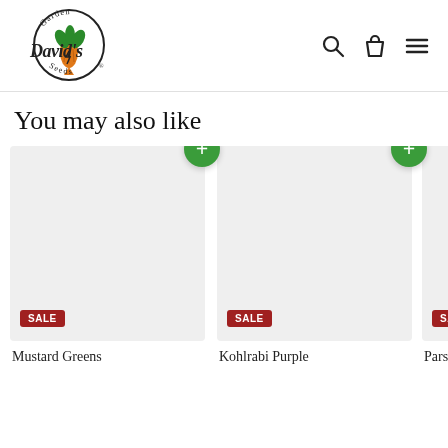[Figure (logo): David's Garden Seeds logo: circular emblem with carrot illustration, text 'Garden Seeds' around circle, 'David's' in script font]
[Figure (screenshot): Navigation icons: search magnifying glass, shopping bag/cart, and hamburger menu]
You may also like
[Figure (photo): Product card for Mustard Greens with SALE badge and green add button, grey placeholder image]
Mustard Greens
[Figure (photo): Product card for Kohlrabi Purple with SALE badge and green add button, grey placeholder image]
Kohlrabi Purple
[Figure (photo): Partial product card for Parsnip(?) with SALE badge, grey placeholder image, partially visible]
Parsm